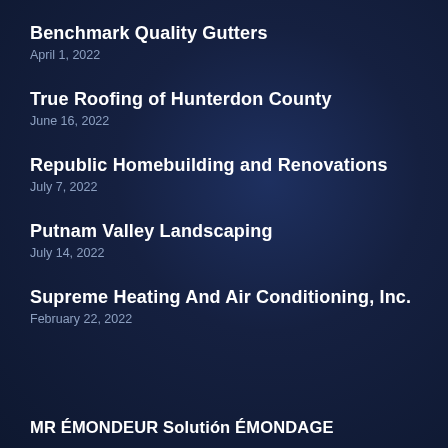Benchmark Quality Gutters
April 1, 2022
True Roofing of Hunterdon County
June 16, 2022
Republic Homebuilding and Renovations
July 7, 2022
Putnam Valley Landscaping
July 14, 2022
Supreme Heating And Air Conditioning, Inc.
February 22, 2022
MR ÉMONDEUR Solutión ÉMONDAGE